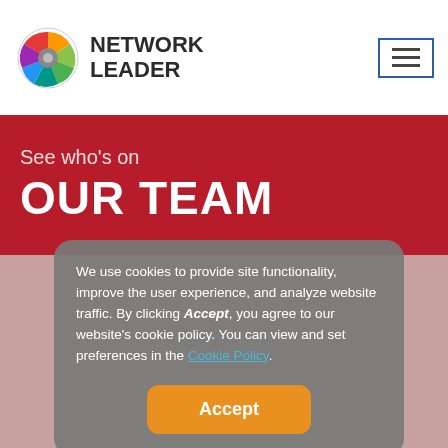NETWORK LEADER
See who's on OUR TEAM
We use cookies to provide site functionality, improve the user experience, and analyze website traffic. By clicking Accept, you agree to our website's cookie policy. You can view and set preferences in the Cookie Policy.
Accept